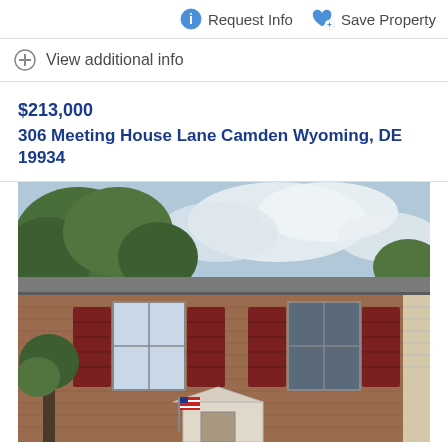Request Info  Save Property
View additional info
$213,000
306 Meeting House Lane Camden Wyoming, DE 19934
[Figure (photo): Exterior photo of a brick two-story townhouse at 306 Meeting House Lane, Camden Wyoming DE, with red shutters, two front windows, an American flag, and trees in the background under a partly cloudy sky.]